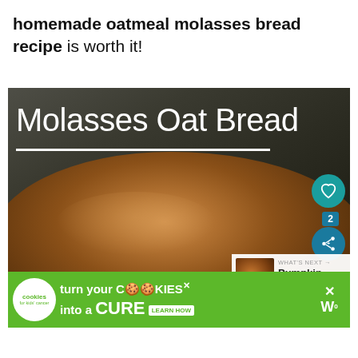homemade oatmeal molasses bread recipe is worth it!
[Figure (photo): Close-up photo of a rustic homemade molasses oat bread loaf with text overlay reading 'Molasses Oat Bread' and a white underline. Social sharing buttons (heart and share) visible on the right side. A 'What's Next' thumbnail showing Pumpkin Chocolate... in the bottom right.]
[Figure (infographic): Green advertisement banner for 'Cookies for Kids Cancer' reading 'turn your COOKIES into a CURE' with LEARN HOW button.]